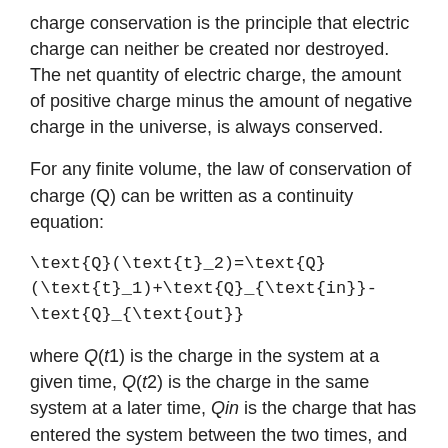charge conservation is the principle that electric charge can neither be created nor destroyed. The net quantity of electric charge, the amount of positive charge minus the amount of negative charge in the universe, is always conserved.
For any finite volume, the law of conservation of charge (Q) can be written as a continuity equation:
where Q(t1) is the charge in the system at a given time, Q(t2) is the charge in the same system at a later time, Qin is the charge that has entered the system between the two times, and Qout is the amount of charge that has left the system between the two times.
This does not mean that individual positive and